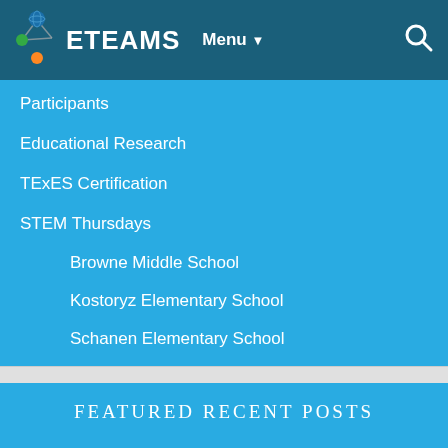ETEAMS Menu
Participants
Educational Research
TExES Certification
STEM Thursdays
Browne Middle School
Kostoryz Elementary School
Schanen Elementary School
FEATURED RECENT POSTS
STEM Thursdays at Browne Middle School